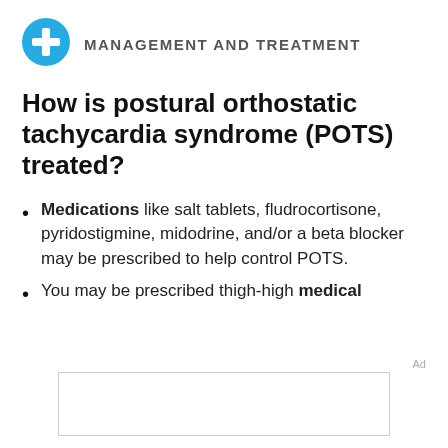MANAGEMENT AND TREATMENT
How is postural orthostatic tachycardia syndrome (POTS) treated?
Medications like salt tablets, fludrocortisone, pyridostigmine, midodrine, and/or a beta blocker may be prescribed to help control POTS.
You may be prescribed thigh-high medical
[Figure (other): Advertisement placeholder box]